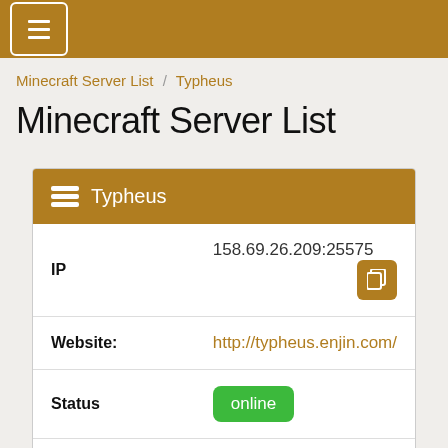≡ (navigation menu button)
Minecraft Server List / Typheus
Minecraft Server List
| Field | Value |
| --- | --- |
| IP | 158.69.26.209:25575 |
| Website: | http://typheus.enjin.com/ |
| Status | online |
| Players | 0 / 10 |
| Version | 1.17.1 |